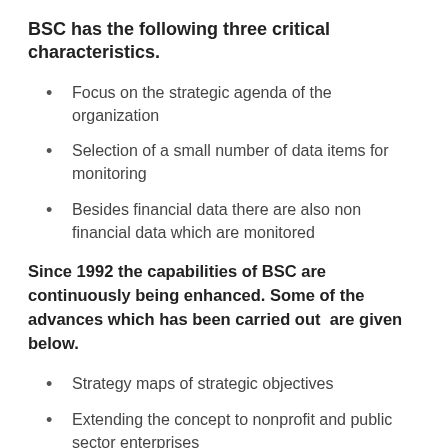BSC has the following three critical characteristics.
Focus on the strategic agenda of the organization
Selection of a small number of data items for monitoring
Besides financial data there are also non financial data which are monitored
Since 1992 the capabilities of BSC are continuously being enhanced. Some of the advances which has been carried out  are given below.
Strategy maps of strategic objectives
Extending the concept to nonprofit and public sector enterprises
Measurement of strategic readiness of intangible assets
Role of organizational learning